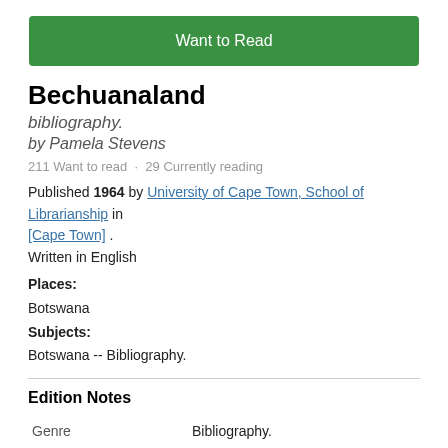[Figure (other): Green 'Want to Read' button]
Bechuanaland
bibliography.
by Pamela Stevens
211 Want to read · 29 Currently reading
Published 1964 by University of Cape Town, School of Librarianship in [Cape Town] .
Written in English
Places:
Botswana
Subjects:
Botswana -- Bibliography.
Edition Notes
|  |  |
| --- | --- |
| Genre | Bibliography. |
| Series | [Cape Town] University of Cape Town. School of |